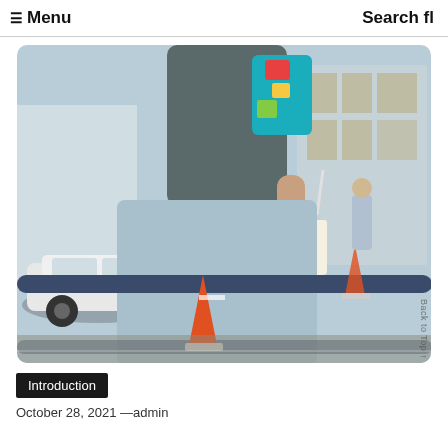☰ Menu   Search fl
[Figure (photo): A person sitting on a metal guardrail outdoors, wearing a grey top and light blue wide-leg trousers, holding a McDonald's cup with a straw. A white car is visible to the left, traffic cones and a building in the background.]
Introduction
October 28, 2021 —admin